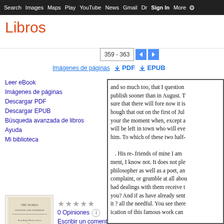Search Images Maps Play YouTube News Gmail Dr Sign In More ⚙
Libros
359 - 363
Imágenes de páginas   ↓ PDF   ↓ EPUB
Leer eBook
Imágenes de páginas
Descargar PDF
Descargar EPUB
Búsqueda avanzada de libros
Ayuda
Mi biblioteca
[Figure (illustration): Book cover thumbnail for The Works of Cowper and Thomson]
★★★★★ 0 Opiniones ℹ Escribir un comentario
[Figure (screenshot): Preview of book page showing partial text: 'and so much too, that I question publish sooner than in August. T sure that there will fore now it is hough that out on the first of Jul your the moment when, except a will be left in town who will eve him. To which of these two half- . His re- friends of mine I am ment, I know not. It does not ple philosopher as well as a poet, an complaint, or grumble at all abou had dealings with them receive t you? And if as have already sent it ? all the needful. You see there ication of this famous work can']
The Works of Cowper and Thomson: Including Many Letters and Poems